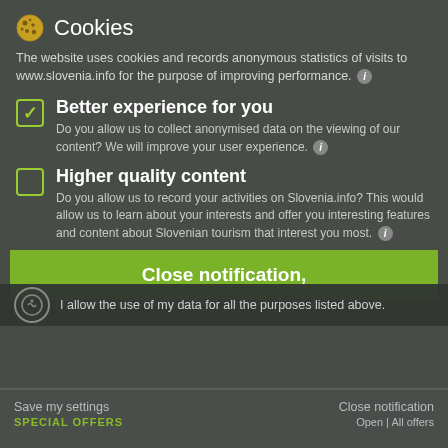Cookies
The website uses cookies and records anonymous statistics of visits to www.slovenia.info for the purpose of improving performance.
Better experience for you — Do you allow us to collect anonymised data on the viewing of our content? We will improve your user experience.
Higher quality content — Do you allow us to record your activities on Slovenia.info? This would allow us to learn about your interests and offer you interesting features and content about Slovenian tourism that interest you most.
Don't miss new content — Do you allow us to occasionally offer you advertising content from other websites that best match your interests?
Close notification,
I allow the use of my data for all the purposes listed above.
Save my settings    Close notification    SPECIAL OFFERS    Open | All offers